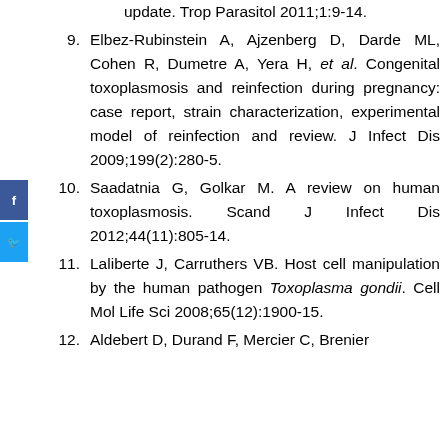update. Trop Parasitol 2011;1:9-14.
9. Elbez-Rubinstein A, Ajzenberg D, Darde ML, Cohen R, Dumetre A, Yera H, et al. Congenital toxoplasmosis and reinfection during pregnancy: case report, strain characterization, experimental model of reinfection and review. J Infect Dis 2009;199(2):280-5.
10. Saadatnia G, Golkar M. A review on human toxoplasmosis. Scand J Infect Dis 2012;44(11):805-14.
11. Laliberte J, Carruthers VB. Host cell manipulation by the human pathogen Toxoplasma gondii. Cell Mol Life Sci 2008;65(12):1900-15.
12. Aldebert D, Durand F, Mercier C, Brenier...